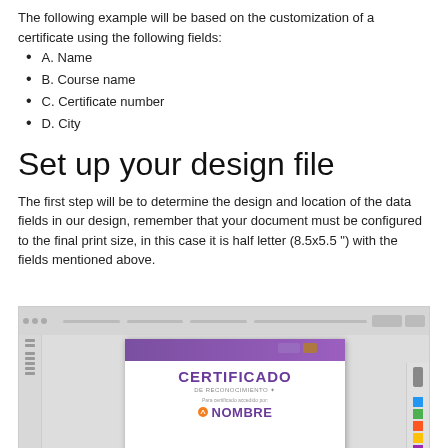The following example will be based on the customization of a certificate using the following fields:
A. Name
B. Course name
C. Certificate number
D. City
Set up your design file
The first step will be to determine the design and location of the data fields in our design, remember that your document must be configured to the final print size, in this case it is half letter (8.5x5.5 ") with the fields mentioned above.
[Figure (screenshot): Screenshot of a design application (likely Illustrator or InDesign) showing a certificate template with 'CERTIFICADO DE RECONOCIMIENTO' heading and 'NOMBRE' placeholder in purple and orange colors.]